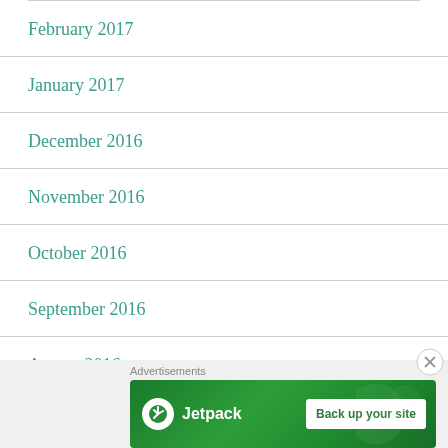February 2017
January 2017
December 2016
November 2016
October 2016
September 2016
August 2016
July 2016
[Figure (other): Jetpack advertisement banner with logo and 'Back up your site' button on a green background]